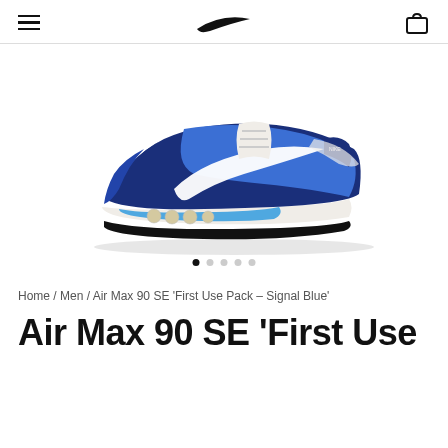Nike navigation header with hamburger menu, swoosh logo, and bag icon
[Figure (photo): Nike Air Max 90 SE sneaker in blue colorway with white swoosh, shown from the side on white background]
Home / Men / Air Max 90 SE 'First Use Pack – Signal Blue'
Air Max 90 SE 'First Use